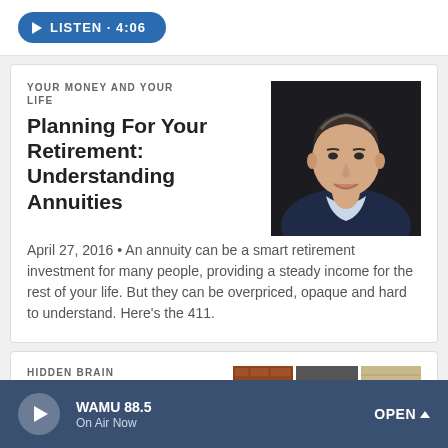[Figure (other): Blue pill-shaped Listen button with play triangle icon and duration 4:06]
YOUR MONEY AND YOUR LIFE
Planning For Your Retirement: Understanding Annuities
[Figure (photo): Headshot of a middle-aged man in a dark suit with gray-streaked hair on a dark background]
April 27, 2016 • An annuity can be a smart retirement investment for many people, providing a steady income for the rest of your life. But they can be overpriced, opaque and hard to understand. Here's the 411.
HIDDEN BRAIN
[Figure (photo): Three cropped images side by side: brick building, woman with dark hair, beige house with teal door]
[Figure (other): Bottom player bar: WAMU 88.5 On Air Now with play button and OPEN chevron]